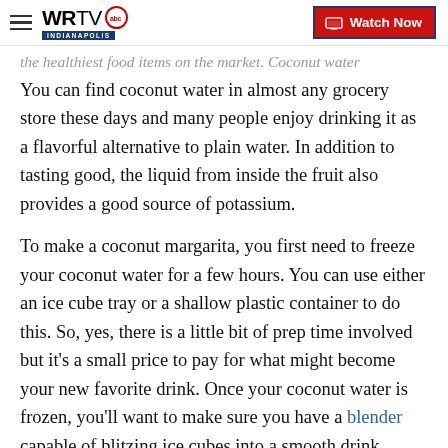WRTV INDIANAPOLIS | Watch Now
the healthiest food items on the market. Coconut water
You can find coconut water in almost any grocery store these days and many people enjoy drinking it as a flavorful alternative to plain water. In addition to tasting good, the liquid from inside the fruit also provides a good source of potassium.
To make a coconut margarita, you first need to freeze your coconut water for a few hours. You can use either an ice cube tray or a shallow plastic container to do this. So, yes, there is a little bit of prep time involved but it’s a small price to pay for what might become your new favorite drink. Once your coconut water is frozen, you’ll want to make sure you have a blender capable of blitzing ice cubes into a smooth drink.